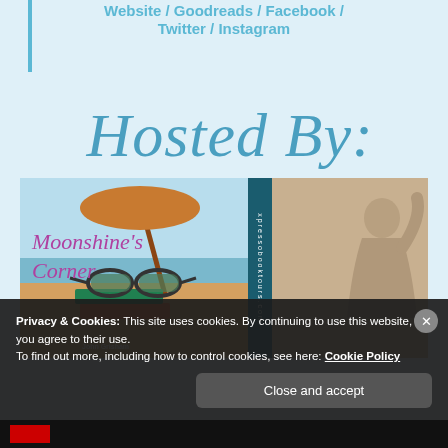Website / Goodreads / Facebook / Twitter / Instagram
[Figure (illustration): Hosted By: cursive script text in blue]
[Figure (photo): Two logos side by side: Moonshine's Corner blog logo (beach/books photo) and Xpresso Book Tours logo, separated by a dark vertical banner reading xpressobooktours.com]
Privacy & Cookies: This site uses cookies. By continuing to use this website, you agree to their use. To find out more, including how to control cookies, see here: Cookie Policy
Close and accept